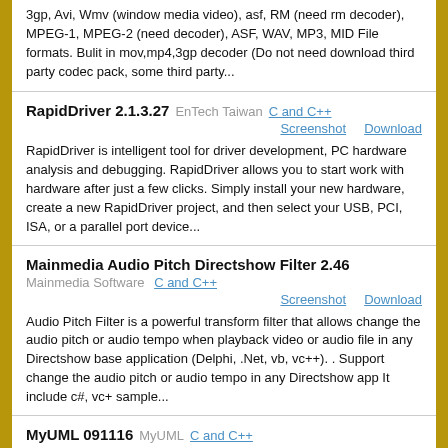3gp, Avi, Wmv (window media video), asf, RM (need rm decoder), MPEG-1, MPEG-2 (need decoder), ASF, WAV, MP3, MID File formats. Bulit in mov,mp4,3gp decoder (Do not need download third party codec pack, some third party...
RapidDriver 2.1.3.27  EnTech Taiwan  C and C++
Screenshot   Download
RapidDriver is intelligent tool for driver development, PC hardware analysis and debugging. RapidDriver allows you to start work with hardware after just a few clicks. Simply install your new hardware, create a new RapidDriver project, and then select your USB, PCI, ISA, or a parallel port device...
Mainmedia Audio Pitch Directshow Filter 2.46  Mainmedia Software  C and C++
Screenshot   Download
Audio Pitch Filter is a powerful transform filter that allows change the audio pitch or audio tempo when playback video or audio file in any Directshow base application (Delphi, .Net, vb, vc++). . Support change the audio pitch or audio tempo in any Directshow app It include c#, vc+ sample...
MyUML 091116  MyUML  C and C++
Screenshot   Download
MyUML is a powerful UML software modeling tool, which allows you to create UML models, draw UML Diagrams,and generate code for UML models.Main Features: It supports the most important UML diagrams:Use Case Diagram,Class Diagram,Object Diagram,State Diagram,Activity Diagram,Collaboration...